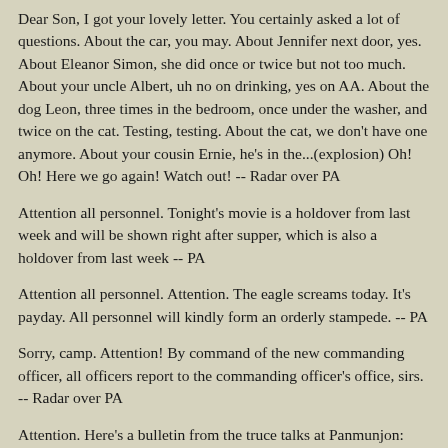Dear Son, I got your lovely letter. You certainly asked a lot of questions. About the car, you may. About Jennifer next door, yes. About Eleanor Simon, she did once or twice but not too much. About your uncle Albert, uh no on drinking, yes on AA. About the dog Leon, three times in the bedroom, once under the washer, and twice on the cat. Testing, testing. About the cat, we don't have one anymore. About your cousin Ernie, he's in the...(explosion) Oh! Oh! Here we go again! Watch out! -- Radar over PA
Attention all personnel. Tonight's movie is a holdover from last week and will be shown right after supper, which is also a holdover from last week -- PA
Attention all personnel. Attention. The eagle screams today. It's payday. All personnel will kindly form an orderly stampede. -- PA
Sorry, camp. Attention! By command of the new commanding officer, all officers report to the commanding officer's office, sirs. -- Radar over PA
Attention. Here's a bulletin from the truce talks at Panmunjon: after six weeks of negotiation, the U.N. and North Korea have agreed that flagpoles in the peace compound are to be thirty-two feet, six and one quarter inches high. World leaders hail this agreement as an important step toward lasting peace. -- PA